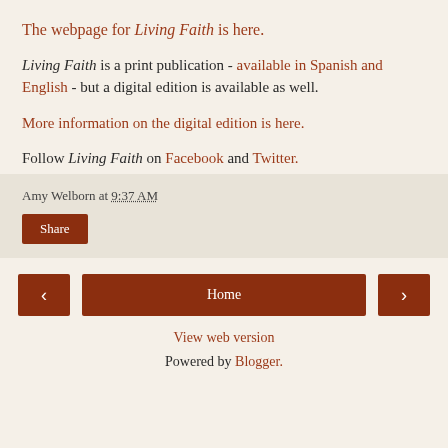The webpage for Living Faith is here.
Living Faith is a print publication - available in Spanish and English - but a digital edition is available as well.
More information on the digital edition is here.
Follow Living Faith on Facebook and Twitter.
Amy Welborn at 9:37 AM
Share
< Home >
View web version
Powered by Blogger.